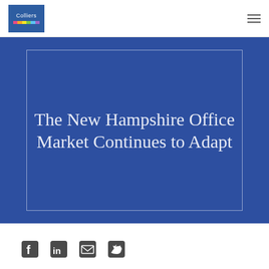Colliers
The New Hampshire Office Market Continues to Adapt
[Figure (logo): Social media icons: Facebook, LinkedIn, Email, Twitter]